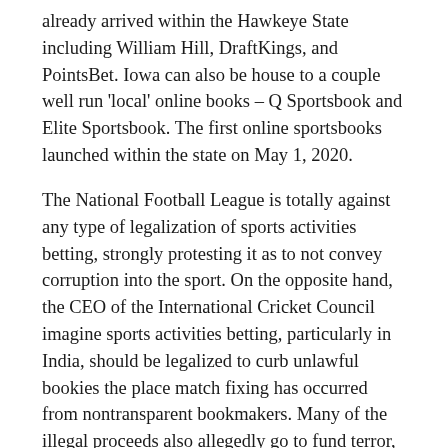already arrived within the Hawkeye State including William Hill, DraftKings, and PointsBet. Iowa can also be house to a couple well run 'local' online books – Q Sportsbook and Elite Sportsbook. The first online sportsbooks launched within the state on May 1, 2020.
The National Football League is totally against any type of legalization of sports activities betting, strongly protesting it as to not convey corruption into the sport. On the opposite hand, the CEO of the International Cricket Council imagine sports activities betting, particularly in India, should be legalized to curb unlawful bookies the place match fixing has occurred from nontransparent bookmakers. Many of the illegal proceeds also allegedly go to fund terror, medication and different unlawful activities. These are wagers offered as options to moneyline wagers in baseball, hockey, or soccer, respectively. These bets are successfully level unfold bets which have the identical